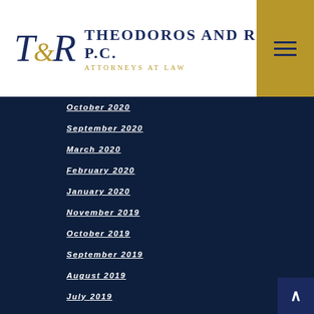Theodoros and Rooth, P.C. — Attorneys At Law
October 2020
September 2020
March 2020
February 2020
January 2020
November 2019
October 2019
September 2019
August 2019
July 2019